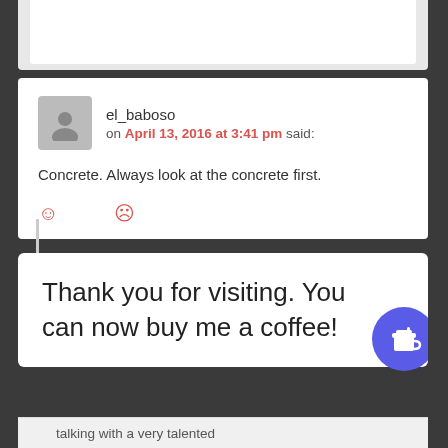[Figure (screenshot): Top of a comment section showing two red emoji icons (smiley and sad face) on a white card inside a gray container, partially cropped at top.]
el_baboso
on April 13, 2016 at 3:41 pm said:
Concrete. Always look at the concrete first.
[Figure (other): Two red emoji icons: smiley face and sad face]
Thank you for visiting. You can now buy me a coffee!
talking with a very talented